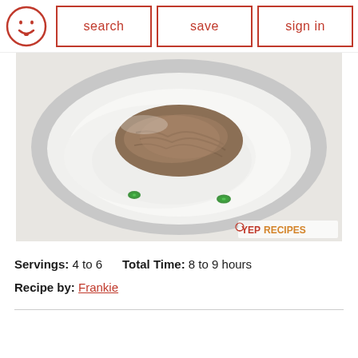search | save | sign in
[Figure (photo): Bowl of white rice topped with shredded meat and green onion slices, viewed from above. A YepRecipes watermark is visible in the bottom right corner of the image.]
Servings: 4 to 6    Total Time: 8 to 9 hours
Recipe by: Frankie